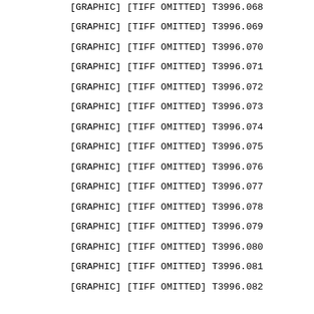[GRAPHIC] [TIFF OMITTED] T3996.068
[GRAPHIC] [TIFF OMITTED] T3996.069
[GRAPHIC] [TIFF OMITTED] T3996.070
[GRAPHIC] [TIFF OMITTED] T3996.071
[GRAPHIC] [TIFF OMITTED] T3996.072
[GRAPHIC] [TIFF OMITTED] T3996.073
[GRAPHIC] [TIFF OMITTED] T3996.074
[GRAPHIC] [TIFF OMITTED] T3996.075
[GRAPHIC] [TIFF OMITTED] T3996.076
[GRAPHIC] [TIFF OMITTED] T3996.077
[GRAPHIC] [TIFF OMITTED] T3996.078
[GRAPHIC] [TIFF OMITTED] T3996.079
[GRAPHIC] [TIFF OMITTED] T3996.080
[GRAPHIC] [TIFF OMITTED] T3996.081
[GRAPHIC] [TIFF OMITTED] T3996.082